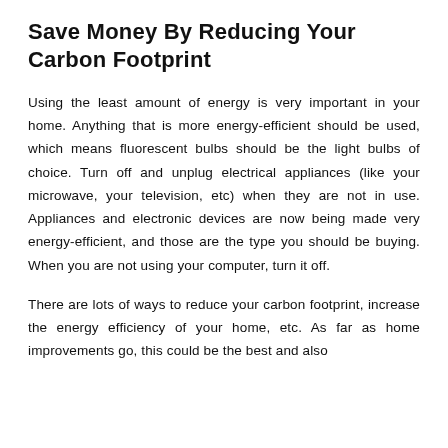Save Money By Reducing Your Carbon Footprint
Using the least amount of energy is very important in your home. Anything that is more energy-efficient should be used, which means fluorescent bulbs should be the light bulbs of choice. Turn off and unplug electrical appliances (like your microwave, your television, etc) when they are not in use. Appliances and electronic devices are now being made very energy-efficient, and those are the type you should be buying. When you are not using your computer, turn it off.
There are lots of ways to reduce your carbon footprint, increase the energy efficiency of your home, etc. As far as home improvements go, this could be the best and also